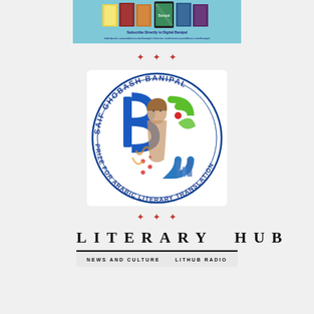[Figure (illustration): Banner advertisement for Digital Banipal showing tablet/e-reader devices displaying book covers against a light blue background, with subscription URLs below]
* * *
[Figure (logo): Saif Ghobash Banipal Prize for Arabic Literary Translation circular logo featuring stylized letters and illustrated figures in blue, green, and orange colors]
* * *
[Figure (logo): Literary Hub logo with text LITERARY HUB in wide spaced letters, with subtitle bar showing NEWS AND CULTURE and LITHUB RADIO]